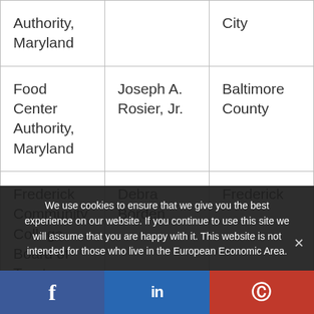| Authority, Maryland |  | City |
| Food Center Authority, Maryland | Joseph A. Rosier, Jr. | Baltimore County |
| Frederick Community College Board of Trustees | Debra Borden | Frederick |
We use cookies to ensure that we give you the best experience on our website. If you continue to use this site we will assume that you are happy with it. This website is not intended for those who live in the European Economic Area.